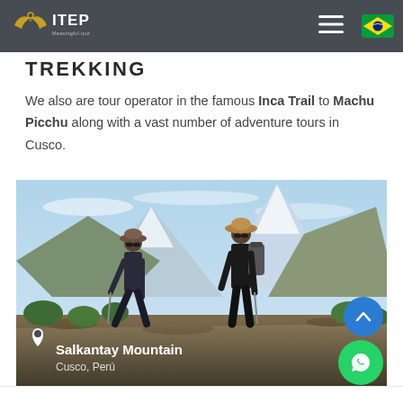ITEP - navigation bar with logo, hamburger menu, and Brazilian flag icon
TREKKING
We also are tour operator in the famous Inca Trail to Machu Picchu along with a vast number of adventure tours in Cusco.
[Figure (photo): Two hikers with trekking poles standing on a mountain trail with snow-capped Salkantay Mountain in the background, Cusco, Peru. Location label overlay at bottom left.]
Salkantay Mountain, Cusco, Perú